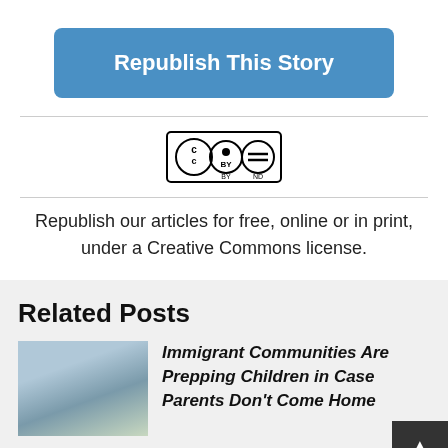[Figure (other): Blue button labeled 'Republish This Story']
[Figure (logo): Creative Commons BY-ND license badge]
Republish our articles for free, online or in print, under a Creative Commons license.
Related Posts
[Figure (photo): Photo of a residential building]
Immigrant Communities Are Prepping Children in Case Parents Don't Come Home